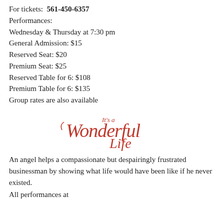For tickets:  561-450-6357
Performances:
Wednesday & Thursday at 7:30 pm
General Admission: $15
Reserved Seat: $20
Premium Seat: $25
Reserved Table for 6: $108
Premium Table for 6: $135
Group rates are also available
[Figure (logo): It's a Wonderful Life script logo in red cursive text]
An angel helps a compassionate but despairingly frustrated businessman by showing what life would have been like if he never existed.
All performances at